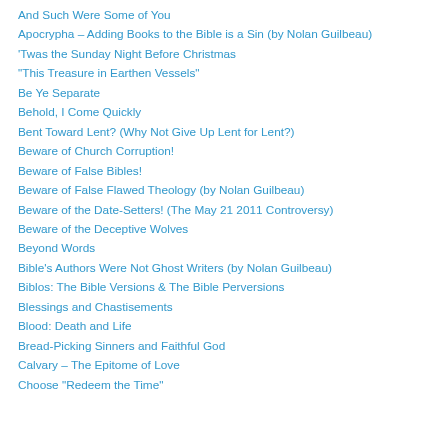And Such Were Some of You
Apocrypha – Adding Books to the Bible is a Sin (by Nolan Guilbeau)
'Twas the Sunday Night Before Christmas
“This Treasure in Earthen Vessels”
Be Ye Separate
Behold, I Come Quickly
Bent Toward Lent? (Why Not Give Up Lent for Lent?)
Beware of Church Corruption!
Beware of False Bibles!
Beware of False Flawed Theology (by Nolan Guilbeau)
Beware of the Date-Setters! (The May 21 2011 Controversy)
Beware of the Deceptive Wolves
Beyond Words
Bible’s Authors Were Not Ghost Writers (by Nolan Guilbeau)
Biblos: The Bible Versions & The Bible Perversions
Blessings and Chastisements
Blood: Death and Life
Bread-Picking Sinners and Faithful God
Calvary – The Epitome of Love
Choose "Redeem the Time"